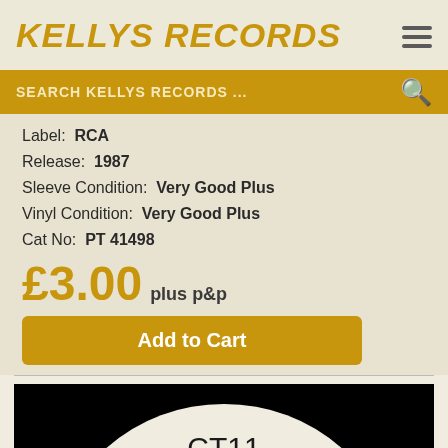KELLYS RECORDS
SEARCH KELLYS RECORDS ...
Label: RCA
Release: 1987
Sleeve Condition: Very Good Plus
Vinyl Condition: Very Good Plus
Cat No: PT 41498
£3.00 plus p&p
Add to Cart
[Figure (photo): Black and white record label image showing CT11 Digitally Mastered and text Funking for Ten Minutes]